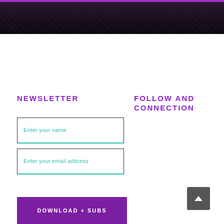[Figure (photo): Dark banner photograph at top of page with purple accent line]
NEWSLETTER
FOLLOW AND CONNECTION
Enter your name
Enter your email address
DOWNLOAD + SUBS